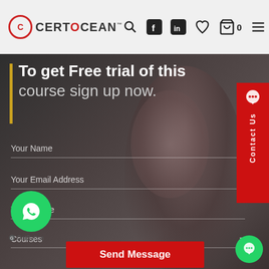CertOcean
To get Free trial of this course sign up now.
Your Name
Your Email Address
Your Phone
Courses
Send Message
Contact Us
[Figure (screenshot): WhatsApp GetButton floating button with phone icon]
[Figure (screenshot): Green chat bubble button at bottom right corner]